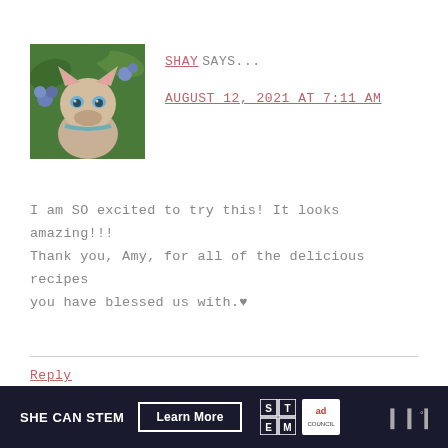[Figure (photo): Profile photo of a Siamese or lynx-point cat with blue eyes sitting among green leaves and blue hydrangea flowers]
SHAY SAYS...
AUGUST 12, 2021 AT 7:11 AM
I am SO excited to try this! It looks amazing!!! Thank you, Amy, for all of the delicious recipes you have blessed us with.♥
Reply
[Figure (infographic): SHE CAN STEM advertisement banner with Learn More button, STEM logo, Ad Council logo, and Whalar logo on dark background]